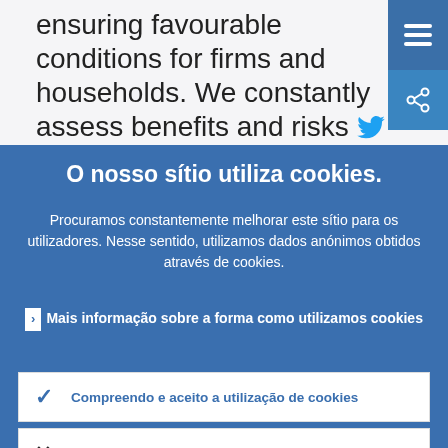ensuring favourable conditions for firms and households. We constantly assess benefits and risks #AskECB
O nosso sítio utiliza cookies.
Procuramos constantemente melhorar este sítio para os utilizadores. Nesse sentido, utilizamos dados anónimos obtidos através de cookies.
Mais informação sobre a forma como utilizamos cookies
Compreendo e aceito a utilização de cookies
Não aceito a utilização de cookies